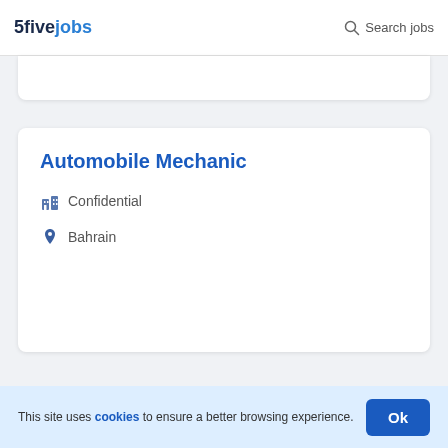5fivejobs   Search jobs
Automobile Mechanic
Confidential
Bahrain
This site uses cookies to ensure a better browsing experience.